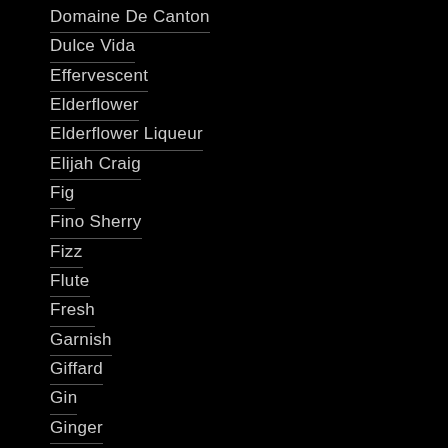Domaine De Canton
Dulce Vida
Effervescent
Elderflower
Elderflower Liqueur
Elijah Craig
Fig
Fino Sherry
Fizz
Flute
Fresh
Garnish
Giffard
Gin
Ginger
Ginger Beer
Ginger Liqueur
Grapefruit
Green Apple